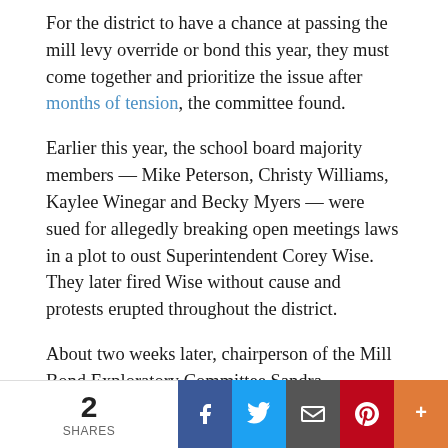For the district to have a chance at passing the mill levy override or bond this year, they must come together and prioritize the issue after months of tension, the committee found.
Earlier this year, the school board majority members — Mike Peterson, Christy Williams, Kaylee Winegar and Becky Myers — were sued for allegedly breaking open meetings laws in a plot to oust Superintendent Corey Wise. They later fired Wise without cause and protests erupted throughout the district.
About two weeks later, chairperson of the Mill Bond Exploratory Committee Sandra Brownrigg said the district could be headed down a “death spiral” as a result of all the controversy.
“That’s the only way we see this as feasible is if the split board can come together and help bring the community together around this issue,” said MBEC member Chris Pratt. “This is an issue that the district needs to tackle, it’s not something…
2 SHARES | Facebook | Twitter | Email | Pinterest | More